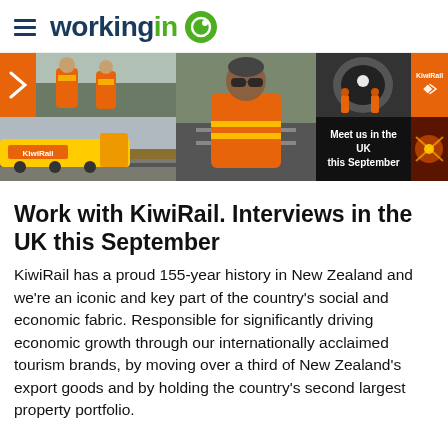working in
[Figure (photo): KiwiRail promotional banner showing rail workers in orange hi-vis gear, a man in orange vest with sunglasses, tunnel workers, a yellow KiwiRail train, and a dark panel reading 'Meet us in the UK this September']
Work with KiwiRail. Interviews in the UK this September
KiwiRail has a proud 155-year history in New Zealand and we're an iconic and key part of the country's social and economic fabric. Responsible for significantly driving economic growth through our internationally acclaimed tourism brands, by moving over a third of New Zealand's export goods and by holding the country's second largest property portfolio.